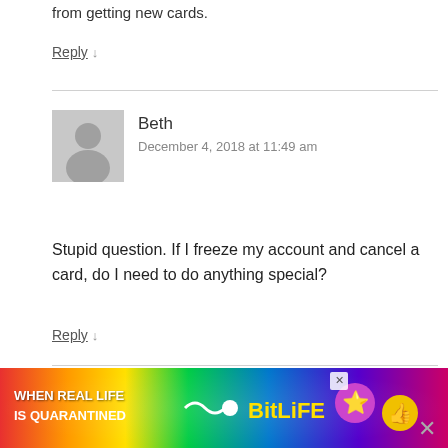from getting new cards.
Reply ↓
Beth
December 4, 2018 at 11:49 am
Stupid question. If I freeze my account and cancel a card, do I need to do anything special?
Reply ↓
Grant  Post author
December 4, 2018 at 1:49 pm
[Figure (other): BitLife advertisement banner with rainbow gradient background, text: WHEN REAL LIFE IS QUARANTINED, BitLife logo, emoji icons]